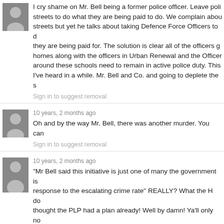I cry shame on Mr. Bell being a former police officer. Leave police on the streets to do what they are being paid to do. We complain about crime on the streets but yet he talks about taking Defence Force Officers to do what they are being paid for. The solution is clear all of the officers guarding homes along with the officers in Urban Renewal and the Officers around these schools need to remain in active police duty. This is the silliest I've heard in a while. Mr. Bell and Co. and going to deplete the s
Sign in to suggest removal
10 years, 2 months ago
Oh and by the way Mr. Bell, there was another murder. You can
Sign in to suggest removal
10 years, 2 months ago
"Mr Bell said this initiative is just one of many the government is response to the escalating crime rate" REALLY? What the H do thought the PLP had a plan already! Well by damn! Ya'll only no tell me not less than 30 days ago that ya'll had a plan! SMT!
Sign in to suggest removal